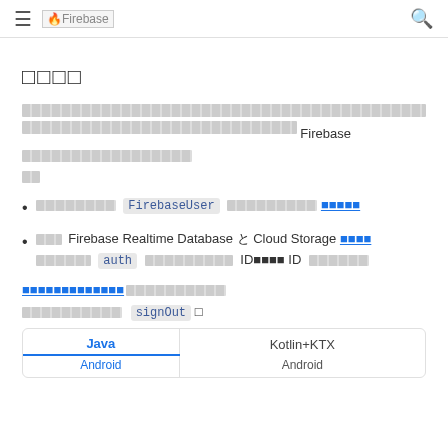≡  Firebase  🔍
□□□□
[gray bar text] Firebase [gray bar text]
[gray] FirebaseUser [gray link]
[gray] Firebase Realtime Database と Cloud Storage [link] [gray] auth [gray] ID [gray] ID [gray]
[link text][gray text]
[gray] signOut() [gray]
| Java | Kotlin+KTX |
| --- | --- |
| Android | Android |